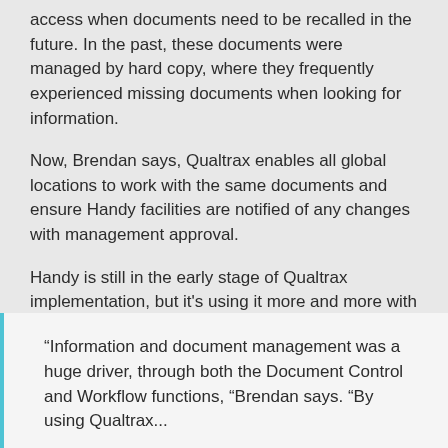access when documents need to be recalled in the future. In the past, these documents were managed by hard copy, where they frequently experienced missing documents when looking for information.
Now, Brendan says, Qualtrax enables all global locations to work with the same documents and ensure Handy facilities are notified of any changes with management approval.
Handy is still in the early stage of Qualtrax implementation, but it's using it more and more with its global production staff, which serves to bring the global organization closer together and enable processes to be run more efficiently.
“Information and document management was a huge driver, through both the Document Control and Workflow functions, “Brendan says. “By using Qualtrax...